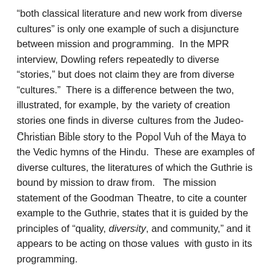“both classical literature and new work from diverse cultures” is only one example of such a disjuncture between mission and programming.  In the MPR interview, Dowling refers repeatedly to diverse “stories,” but does not claim they are from diverse “cultures.”  There is a difference between the two, illustrated, for example, by the variety of creation stories one finds in diverse cultures from the Judeo-Christian Bible story to the Popol Vuh of the Maya to the Vedic hymns of the Hindu.  These are examples of diverse cultures, the literatures of which the Guthrie is bound by mission to draw from.   The mission statement of the Goodman Theatre, to cite a counter example to the Guthrie, states that it is guided by the principles of “quality, diversity, and community,” and it appears to be acting on those values  with gusto in its programming.